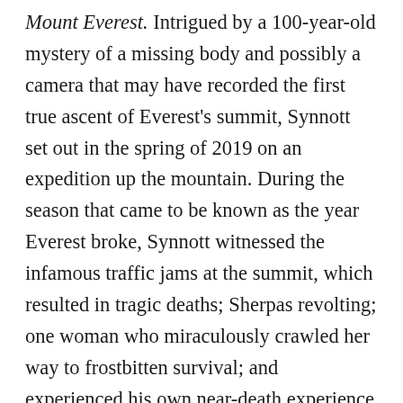Mount Everest. Intrigued by a 100-year-old mystery of a missing body and possibly a camera that may have recorded the first true ascent of Everest's summit, Synnott set out in the spring of 2019 on an expedition up the mountain. During the season that came to be known as the year Everest broke, Synnott witnessed the infamous traffic jams at the summit, which resulted in tragic deaths; Sherpas revolting; one woman who miraculously crawled her way to frostbitten survival; and experienced his own near-death experience when he went off the safety rope. His gripping narrative chronicles his harrowing climb as well as his rigorous research in archives and museums, all undertaken in an attempt to solve the mystery that has obsessed him.